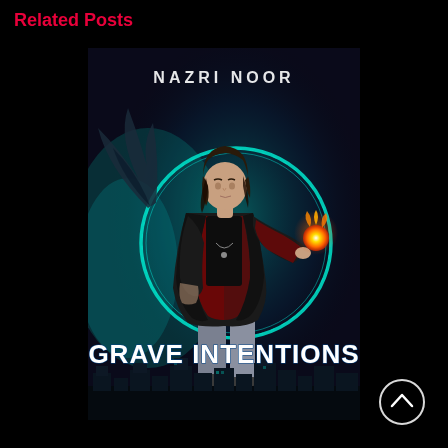Related Posts
[Figure (illustration): Book cover for 'Grave Intentions' by Nazri Noor. Features a young man in a black trench coat with red lining, holding a flaming orb in one hand, standing in front of a large glowing teal magical circle. A dark winged creature is visible on the left. The background shows a dark cityscape at the bottom with teal magical energy. The author name 'NAZRI NOOR' appears at the top in white letters, and the title 'GRAVE INTENTIONS' appears at the bottom in large white stylized letters.]
[Figure (other): Circular scroll-to-top button with an upward-pointing chevron arrow, outlined in white on black background.]